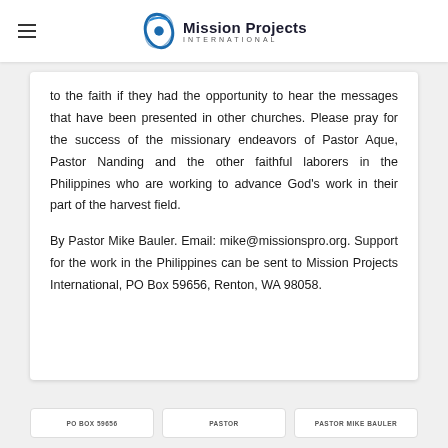Mission Projects International
to the faith if they had the opportunity to hear the messages that have been presented in other churches. Please pray for the success of the missionary endeavors of Pastor Aque, Pastor Nanding and the other faithful laborers in the Philippines who are working to advance God's work in their part of the harvest field.

By Pastor Mike Bauler. Email: mike@missionspro.org. Support for the work in the Philippines can be sent to Mission Projects International, PO Box 59656, Renton, WA 98058.